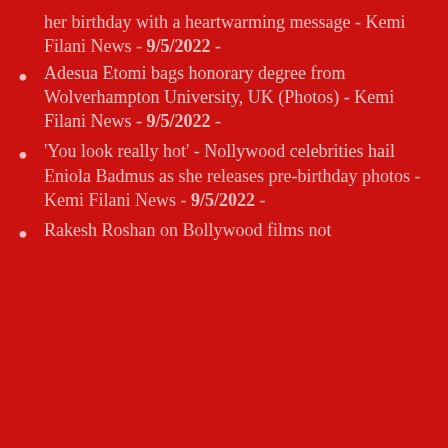her birthday with a heartwarming message - Kemi Filani News - 9/5/2022 -
Adesua Etomi bags honorary degree from Wolverhampton University, UK (Photos) - Kemi Filani News - 9/5/2022 -
'You look really hot' - Nollywood celebrities hail Eniola Badmus as she releases pre-birthday photos - Kemi Filani News - 9/5/2022 -
Rakesh Roshan on Bollywood films not